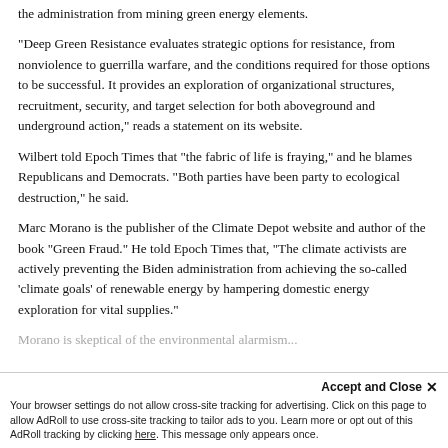the administration from mining green energy elements.
“Deep Green Resistance evaluates strategic options for resistance, from nonviolence to guerrilla warfare, and the conditions required for those options to be successful. It provides an exploration of organizational structures, recruitment, security, and target selection for both aboveground and underground action,” reads a statement on its website.
Wilbert told Epoch Times that “the fabric of life is fraying,” and he blames Republicans and Democrats. “Both parties have been party to ecological destruction,” he said.
Marc Morano is the publisher of the Climate Depot website and author of the book “Green Fraud.” He told Epoch Times that, “The climate activists are actively preventing the Biden administration from achieving the so-called ‘climate goals’ of renewable energy by hampering domestic energy exploration for vital supplies.”
Morano is skeptical of the environmental alarmism...
Your browser settings do not allow cross-site tracking for advertising. Click on this page to allow AdRoll to use cross-site tracking to tailor ads to you. Learn more or opt out of this AdRoll tracking by clicking here. This message only appears once.